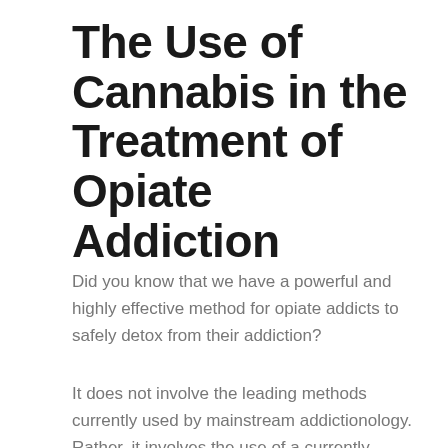The Use of Cannabis in the Treatment of Opiate Addiction
Did you know that we have a powerful and highly effective method for opiate addicts to safely detox from their addiction?
It does not involve the leading methods currently used by mainstream addictionology. Rather, it involves the use of a currently illegal substance: marijuana.
Treating opiate addiction with an illicit drug like cannabis is a controversial practice